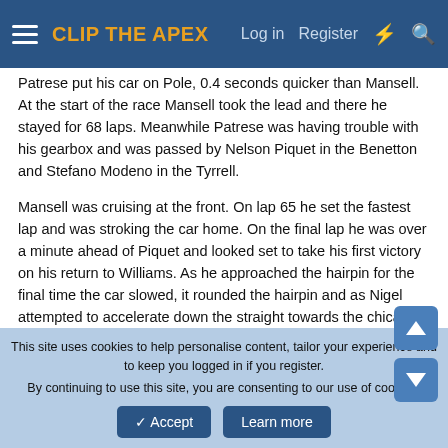CLIP THE APEX | Log in | Register
Patrese put his car on Pole, 0.4 seconds quicker than Mansell. At the start of the race Mansell took the lead and there he stayed for 68 laps. Meanwhile Patrese was having trouble with his gearbox and was passed by Nelson Piquet in the Benetton and Stefano Modeno in the Tyrrell.
Mansell was cruising at the front. On lap 65 he set the fastest lap and was stroking the car home. On the final lap he was over a minute ahead of Piquet and looked set to take his first victory on his return to Williams. As he approached the hairpin for the final time the car slowed, it rounded the hairpin and as Nigel attempted to accelerate down the straight towards the chicane the car simply wouldn't go. The Englishman vented his frustration and beat the steering wheel as the machine dribbled to a halt in front of one of the main grandstands. He got out and
This site uses cookies to help personalise content, tailor your experience and to keep you logged in if you register.
By continuing to use this site, you are consenting to our use of cookies.